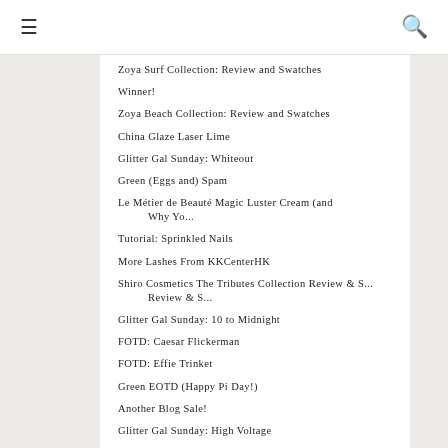≡  🔍
Zoya Surf Collection: Review and Swatches
Winner!
Zoya Beach Collection: Review and Swatches
China Glaze Laser Lime
Glitter Gal Sunday: Whiteout
Green (Eggs and) Spam
Le Métier de Beauté Magic Luster Cream (and Why Yo...
Tutorial: Sprinkled Nails
More Lashes From KKCenterHK
Shiro Cosmetics The Tributes Collection Review & S...
Glitter Gal Sunday: 10 to Midnight
FOTD: Caesar Flickerman
FOTD: Effie Trinket
Green EOTD (Happy Pi Day!)
Another Blog Sale!
Glitter Gal Sunday: High Voltage